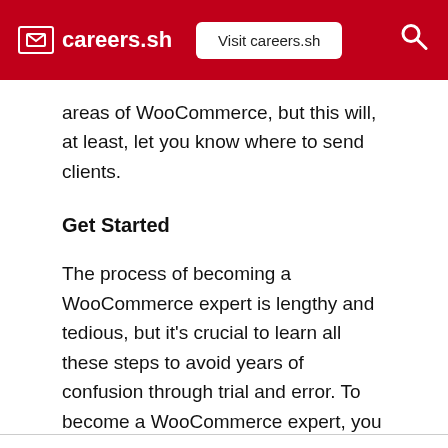careers.sh — Visit careers.sh
areas of WooCommerce, but this will, at least, let you know where to send clients.
Get Started
The process of becoming a WooCommerce expert is lengthy and tedious, but it's crucial to learn all these steps to avoid years of confusion through trial and error. To become a WooCommerce expert, you cannot skip any of the steps above, but this article will save you months of figuring out what to study.